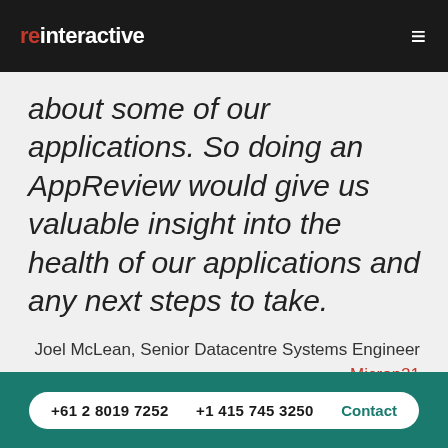reinteractive
about some of our applications. So doing an AppReview would give us valuable insight into the health of our applications and any next steps to take.
Joel McLean, Senior Datacentre Systems Engineer
Micron21
+61 2 8019 7252  +1 415 745 3250  Contact